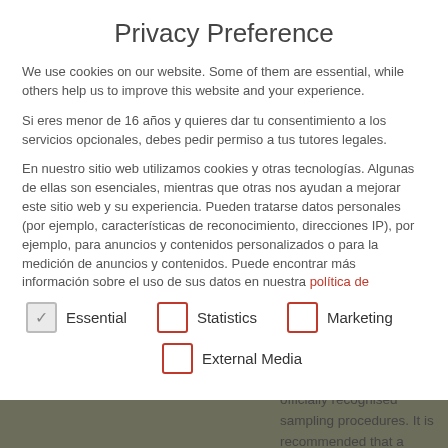Privacy Preference
We use cookies on our website. Some of them are essential, while others help us to improve this website and your experience.
Si eres menor de 16 años y quieres dar tu consentimiento a los servicios opcionales, debes pedir permiso a tus tutores legales.
En nuestro sitio web utilizamos cookies y otras tecnologías. Algunas de ellas son esenciales, mientras que otras nos ayudan a mejorar este sitio web y su experiencia. Pueden tratarse datos personales (por ejemplo, características de reconocimiento, direcciones IP), por ejemplo, para anuncios y contenidos personalizados o para la medición de anuncios y contenidos. Puede encontrar más información sobre el uso de sus datos en nuestra política de
Essential
Statistics
Marketing
External Media
officially recognised sampling procedures. It is recommended that a